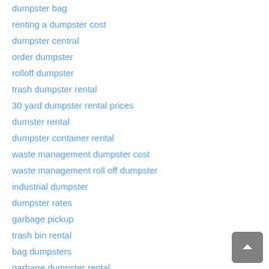dumpster bag
renting a dumpster cost
dumpster central
order dumpster
rolloff dumpster
trash dumpster rental
30 yard dumpster rental prices
dumster rental
dumpster container rental
waste management dumpster cost
waste management roll off dumpster
industrial dumpster
dumpster rates
garbage pickup
trash bin rental
bag dumpsters
garbage dumpster rental
roll on roll off containers
dumpster rental rates